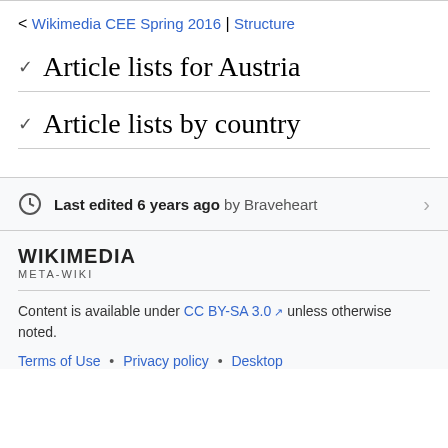< Wikimedia CEE Spring 2016 | Structure
Article lists for Austria
Article lists by country
Last edited 6 years ago by Braveheart
[Figure (logo): Wikimedia Meta-Wiki logo wordmark]
Content is available under CC BY-SA 3.0 unless otherwise noted.
Terms of Use • Privacy policy • Desktop